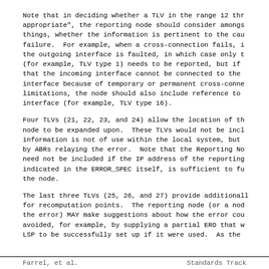Note that in deciding whether a TLV in the range 12 thr appropriate", the reporting node should consider among things, whether the information is pertinent to the cau failure.  For example, when a cross-connection fails, i the outgoing interface is faulted, in which case only t (for example, TLV type 1) needs to be reported, but if that the incoming interface cannot be connected to the interface because of temporary or permanent cross-conne limitations, the node should also include reference to interface (for example, TLV type 16).
Four TLVs (21, 22, 23, and 24) allow the location of th node to be expanded upon.  These TLVs would not be incl information is not of use within the local system, but by ABRs relaying the error.  Note that the Reporting No need not be included if the IP address of the reporting indicated in the ERROR_SPEC itself, is sufficient to fu the node.
The last three TLVs (25, 26, and 27) provide additionall for recomputation points.  The reporting node (or a nod the error) MAY make suggestions about how the error cou avoided, for example, by supplying a partial ERO that w LSP to be successfully set up if it were used.  As the
Farrel, et al.                Standards Track